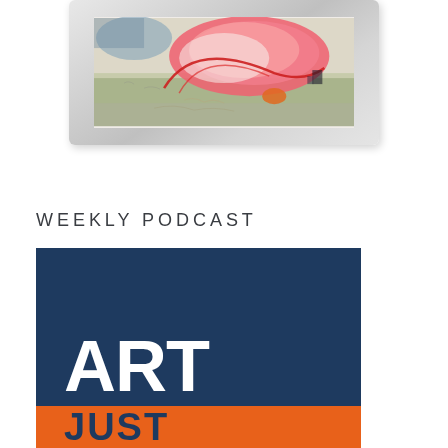[Figure (photo): An abstract painting with pink, red, orange, and white brush strokes on a light background, displayed in a white/silver frame.]
WEEKLY PODCAST
[Figure (logo): Art podcast logo on a dark navy blue background with large white bold text 'ART' and an orange bar below with text beginning with letters 'JUST']